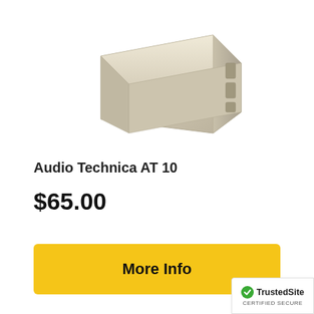[Figure (photo): Product photo of a beige/ivory colored Audio Technica AT 10 cartridge or stylus component, shown from a slightly elevated angle against a white background.]
Audio Technica AT 10
$65.00
More Info
[Figure (logo): TrustedSite certified secure badge with green checkmark icon.]